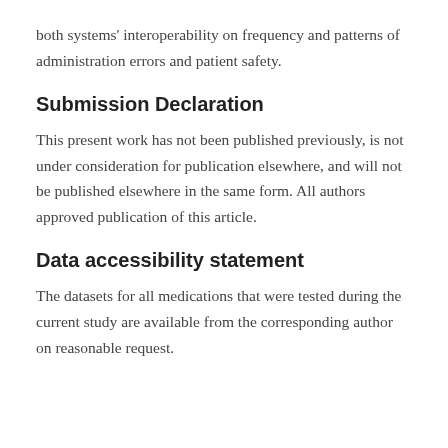both systems' interoperability on frequency and patterns of administration errors and patient safety.
Submission Declaration
This present work has not been published previously, is not under consideration for publication elsewhere, and will not be published elsewhere in the same form. All authors approved publication of this article.
Data accessibility statement
The datasets for all medications that were tested during the current study are available from the corresponding author on reasonable request.